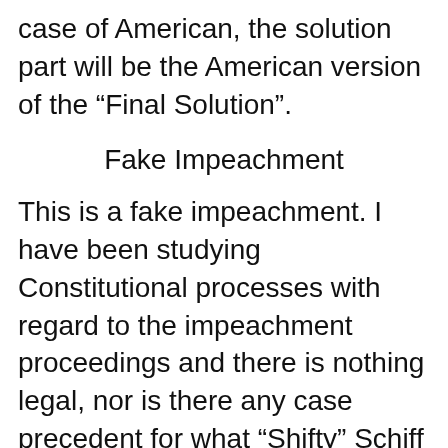case of American, the solution part will be the American version of the “Final Solution”.
Fake Impeachment
This is a fake impeachment. I have been studying Constitutional processes with regard to the impeachment proceedings and there is nothing legal, nor is there any case precedent for what “Shifty” Schiff is doing. Below, are some issues that I have with regard to what Schiff is doing.
Schiff is holding the process in secret. This is unprecedented and illegal. During the Nixon and Clinton impeachment